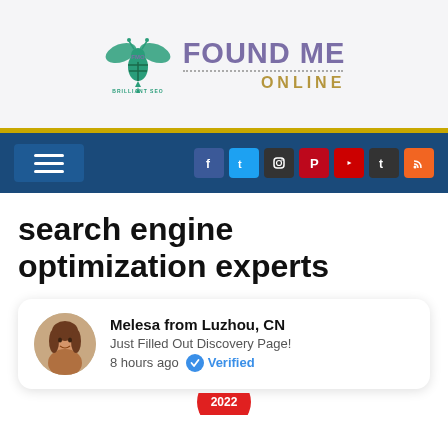[Figure (logo): Found Me Online logo with bee icon, FMO Brilliant SEO text, and FOUND ME ONLINE brand name in purple and gold]
[Figure (infographic): Navigation bar with hamburger menu and social media icons for Facebook, Twitter, Instagram, Pinterest, YouTube, Tumblr, RSS]
search engine optimization experts
Melesa from Luzhou, CN — Just Filled Out Discovery Page! — 8 hours ago — Verified